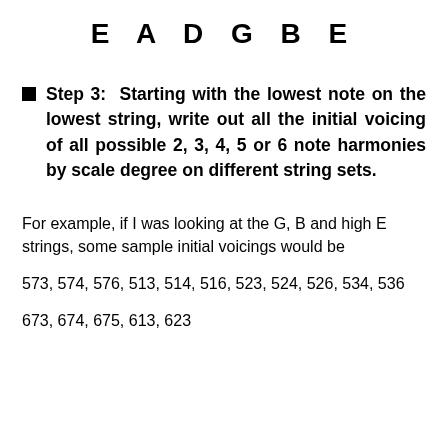E A D G B E
Step 3:  Starting with the lowest note on the lowest string, write out all the initial voicing of all possible 2, 3, 4, 5 or 6 note harmonies by scale degree on different string sets.
For example, if I was looking at the G, B and high E strings, some sample initial voicings would be
573, 574, 576, 513, 514, 516, 523, 524, 526, 534, 536
673, 674, 675, 613, 623